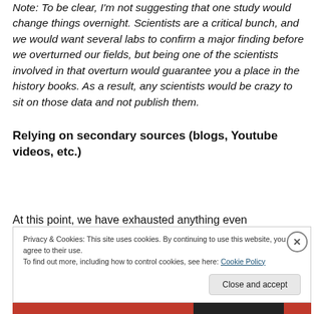Note: To be clear, I'm not suggesting that one study would change things overnight. Scientists are a critical bunch, and we would want several labs to confirm a major finding before we overturned our fields, but being one of the scientists involved in that overturn would guarantee you a place in the history books. As a result, any scientists would be crazy to sit on those data and not publish them.
Relying on secondary sources (blogs, Youtube videos, etc.)
At this point, we have exhausted anything even
Privacy & Cookies: This site uses cookies. By continuing to use this website, you agree to their use.
To find out more, including how to control cookies, see here: Cookie Policy